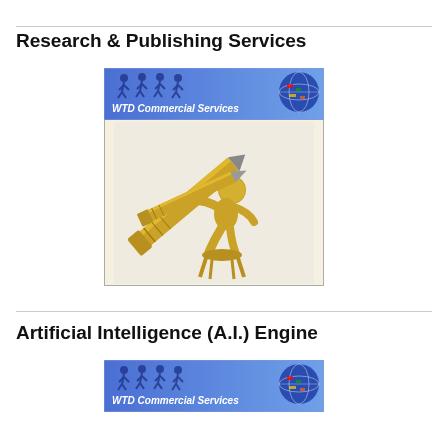Research & Publishing Services
[Figure (illustration): WTD Commercial Services banner with gold figure writing with a large pen, sitting on a stool]
Artificial Intelligence (A.I.) Engine
[Figure (illustration): WTD Commercial Services banner header]